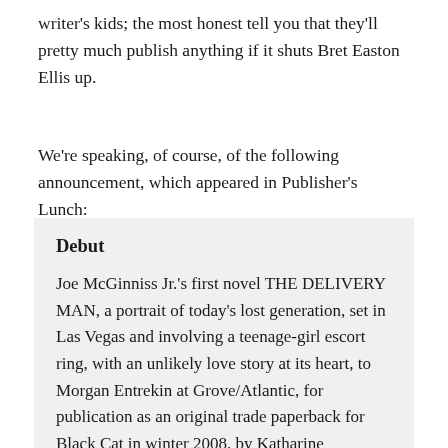writer's kids; the most honest tell you that they'll pretty much publish anything if it shuts Bret Easton Ellis up.
We're speaking, of course, of the following announcement, which appeared in Publisher's Lunch:
Debut
Joe McGinniss Jr.'s first novel THE DELIVERY MAN, a portrait of today's lost generation, set in Las Vegas and involving a teenage-girl escort ring, with an unlikely love story at its heart, to Morgan Entrekin at Grove/Atlantic, for publication as an original trade paperback for Black Cat in winter 2008, by Katharine Cluverius at ICM (world).